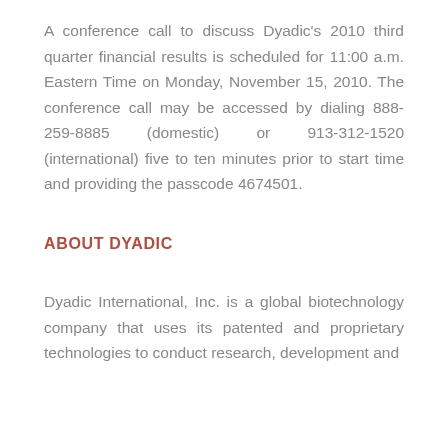A conference call to discuss Dyadic's 2010 third quarter financial results is scheduled for 11:00 a.m. Eastern Time on Monday, November 15, 2010. The conference call may be accessed by dialing 888-259-8885 (domestic) or 913-312-1520 (international) five to ten minutes prior to start time and providing the passcode 4674501.
ABOUT DYADIC
Dyadic International, Inc. is a global biotechnology company that uses its patented and proprietary technologies to conduct research, development and